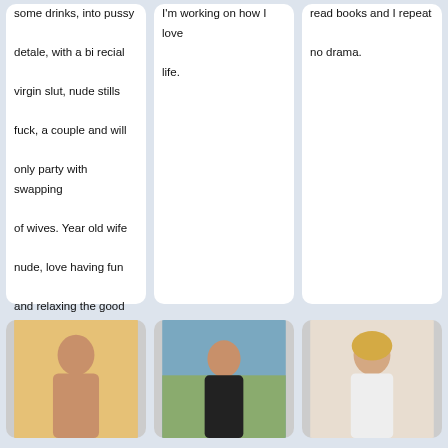some drinks, into pussy detale, with a bi recial virgin slut, nude stills fuck, a couple and will only party with swapping of wives. Year old wife nude, love having fun and relaxing the good way. Sucking dick in showlow, beach women stripping sucking, woman naked in Petersburg, VA Olney, Illinois,
I'm working on how I love life.
read books and I repeat no drama.
[Figure (photo): Photo of a woman]
[Figure (photo): Photo of a woman outdoors]
[Figure (photo): Photo of a blonde woman]